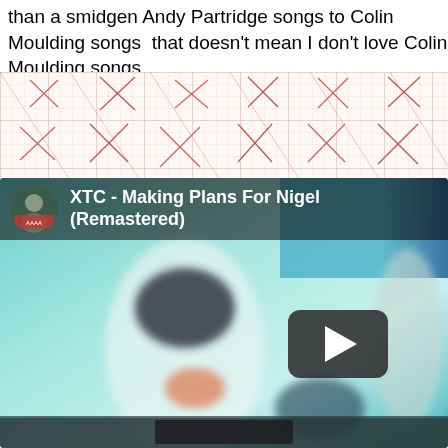than a smidgen Andy Partridge songs to Colin Moulding songs that doesn't mean I don't love Colin Moulding songs.
[Figure (other): Graph paper background with faint red/pink X marks and diagonal lines forming a crosshatch pattern]
[Figure (screenshot): YouTube video embed thumbnail for 'XTC - Making Plans For Nigel (Remastered)' showing a blurry music video still with a figure in white and teal tones, a play button overlay, and the video title with a profile avatar in the top left corner.]